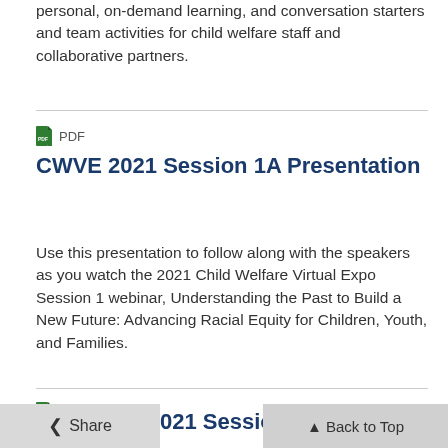personal, on-demand learning, and conversation starters and team activities for child welfare staff and collaborative partners.
PDF
CWVE 2021 Session 1A Presentation
Use this presentation to follow along with the speakers as you watch the 2021 Child Welfare Virtual Expo Session 1 webinar, Understanding the Past to Build a New Future: Advancing Racial Equity for Children, Youth, and Families.
PDF
021 Session 2 Pr
Share
Back to Top